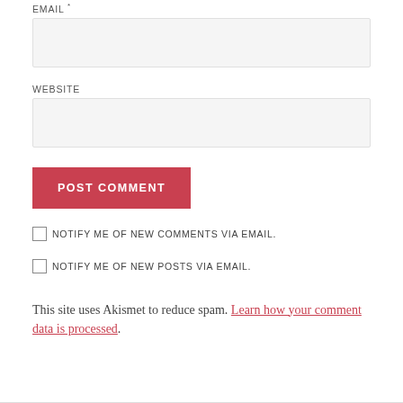EMAIL *
WEBSITE
POST COMMENT
NOTIFY ME OF NEW COMMENTS VIA EMAIL.
NOTIFY ME OF NEW POSTS VIA EMAIL.
This site uses Akismet to reduce spam. Learn how your comment data is processed.